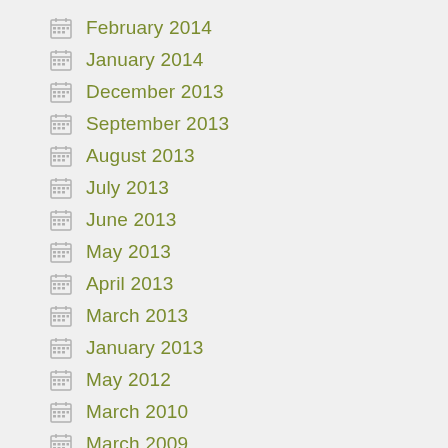February 2014
January 2014
December 2013
September 2013
August 2013
July 2013
June 2013
May 2013
April 2013
March 2013
January 2013
May 2012
March 2010
March 2009